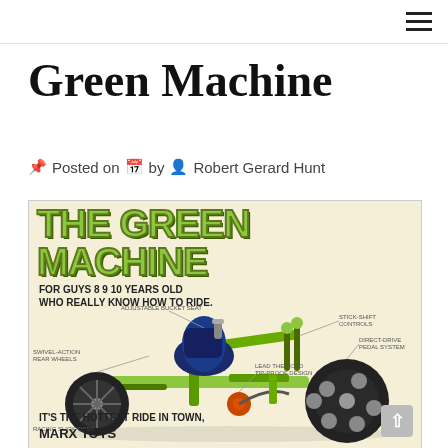☰
Green Machine
📌 Posted on 📅 by 👤 Robert Gerard Hunt
[Figure (illustration): Vintage advertisement for 'The Green Machine' toy trike by Marx Toys. Features large green stylized lettering reading 'THE GREEN MACHINE', a detailed illustration of a low-rider tricycle in bright green with a black bucket seat, large rear wheels with racing slick tires, swivel-action rear wheels, adjustable bucket seat, stick-shift controls, direct-drive pedal system, and lead-the-road tip-proof design. Text reads: 'FOR GUYS 8 9 10 YEARS OLD WHO REALLY KNOW HOW TO RIDE.' Bottom text: 'IT'S THE HOTTEST RIDE IN TOWN. MARX TOYS']